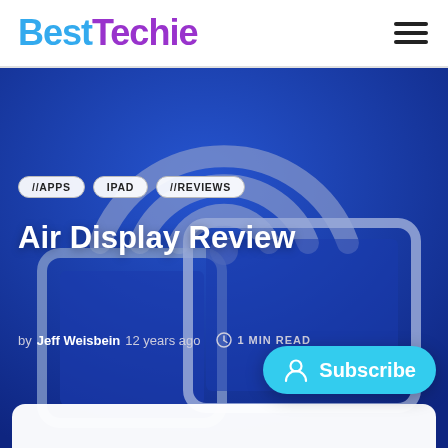BestTechie
[Figure (screenshot): Blue hero image showing a wireless/AirPlay icon with two tablet device silhouettes on a dark blue background]
//APPS
IPAD
//REVIEWS
Air Display Review
by Jeff Weisbein 12 years ago  1 MIN READ